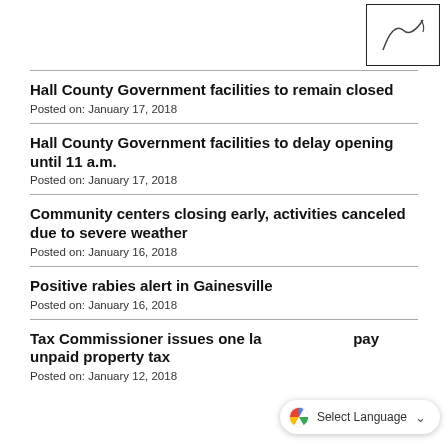[Figure (logo): Hall County logo sketch in a bordered box]
Hall County Government facilities to remain closed
Posted on: January 17, 2018
Hall County Government facilities to delay opening until 11 a.m.
Posted on: January 17, 2018
Community centers closing early, activities canceled due to severe weather
Posted on: January 16, 2018
Positive rabies alert in Gainesville
Posted on: January 16, 2018
Tax Commissioner issues one last chance to pay unpaid property tax
Posted on: January 12, 2018